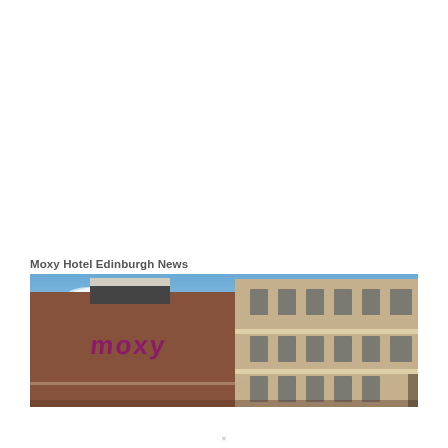Moxy Hotel Edinburgh News
[Figure (photo): Exterior photograph of Moxy Hotel Edinburgh, showing the brick facade with the purple Moxy logo sign on the left portion of the building and a tan/beige building section on the right, against a blue sky with white clouds.]